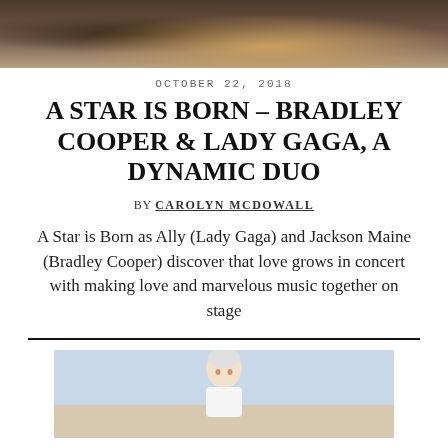[Figure (photo): Top portion of a photo showing hands playing guitar at a concert or outdoor setting]
OCTOBER 22, 2018
A STAR IS BORN – BRADLEY COOPER & LADY GAGA, A DYNAMIC DUO
BY CAROLYN MCDOWALL
A Star is Born as Ally (Lady Gaga) and Jackson Maine (Bradley Cooper) discover that love grows in concert with making love and marvelous music together on stage
[Figure (photo): Bottom portion showing a person with short light hair, cropped at top of frame]